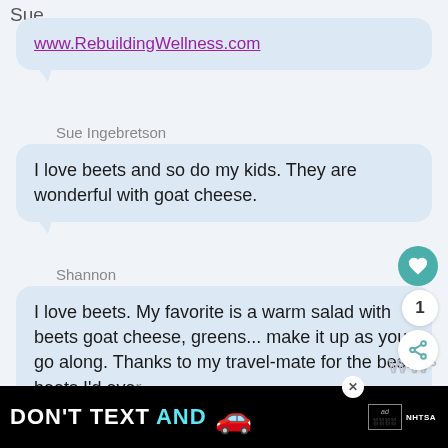Sue
www.RebuildingWellness.com
Sue Ingebretson
I love beets and so do my kids. They are wonderful with goat cheese.
Shannon
I love beets. My favorite is a warm salad with beets goat cheese, greens... make it up as you go along. Thanks to my travel-mate for the best beets I'd ever h...
[Figure (infographic): DON'T TEXT AND [car emoji] advertisement banner with NHTSA logo and ad badge, close button]